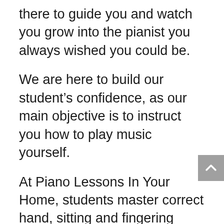there to guide you and watch you grow into the pianist you always wished you could be.
We are here to build our student’s confidence, as our main objective is to instruct you how to play music yourself.
At Piano Lessons In Your Home, students master correct hand, sitting and fingering technique, as well as how to read sheet music and music theory.
We are passionate about music and are passionate about helping our piano students achieve what they’ve set out to do: play the piano themselves.